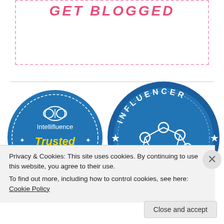[Figure (logo): Decorative cursive/script style text in pink/red reading something like 'Get Blogged' inside a pink dashed border box]
[Figure (logo): Intellifluence Trusted Blogger badge — circular blue badge with brain icon, yellow 'Trusted' text, gold banner reading 'BLOGGER']
[Figure (logo): Influencer badge — large circular blue badge with 'INFLUENCER' text at top and network graph icon in center]
Privacy & Cookies: This site uses cookies. By continuing to use this website, you agree to their use. To find out more, including how to control cookies, see here: Cookie Policy
Close and accept